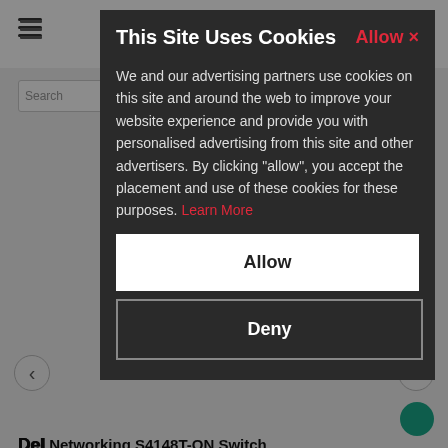[Figure (screenshot): Background e-commerce website page showing navigation bar with hamburger menu, search bar, product title 'Dell Networking S4148T-ON Switch', product specs '48 x 10Gb SFP+, 2x QSFP+, 4 x QSFP28 Ports', price 'US$8,0...', order/delivery info with checkmarks for ETB Refurbished, 3 Year ETB Warranty, Price Match Promise, and navigation arrows.]
This Site Uses Cookies
We and our advertising partners use cookies on this site and around the web to improve your website experience and provide you with personalised advertising from this site and other advertisers. By clicking "allow", you accept the placement and use of these cookies for these purposes. Learn More
Allow
Deny